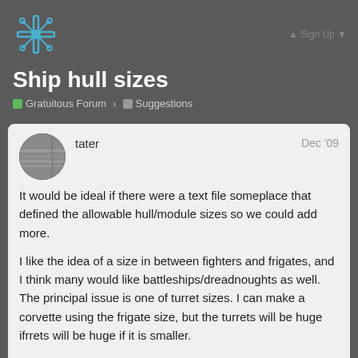[Figure (logo): Crossed wires / network logo icon in blue on dark background]
Ship hull sizes
Gratuitous Forum  Suggestions
tater   Dec '09
It would be ideal if there were a text file someplace that defined the allowable hull/module sizes so we could add more.
I like the idea of a size in between fighters and frigates, and I think many would like battleships/dreadnoughts as well. The principal issue is one of turret sizes. I can make a corvette using the frigate size, but the turrets will be huge if it is smaller.
1 / 21